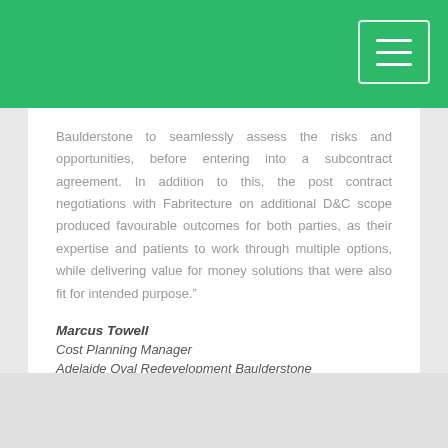Baulderstone to seamlessly assess the risks and opportunities, before entering into a subcontract agreement. In addition to this, the post contract negotiations with Fabritecture on additional D&C scope produced favourable outcomes for both parties, as their expertise and patients to work through multiple options, while delivering value for money solutions that were also fit for intended purpose."
Marcus Towell
Cost Planning Manager
Adelaide Oval Redevelopment Baulderstone